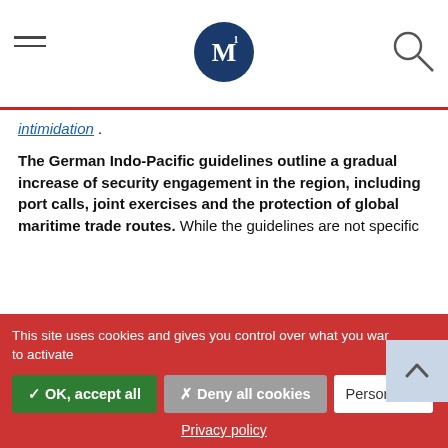M (logo) navigation header
intimidation .
The German Indo-Pacific guidelines outline a gradual increase of security engagement in the region, including port calls, joint exercises and the protection of global maritime trade routes. While the guidelines are not specific about German naval presence in the South China Sea, the Note Verbale submitted on September 16 by the UK, Germany and France challenging the legality of China's positions in the region has attracted
This site uses cookies and gives you control over what you want to activate
✓ OK, accept all
✗ Deny all cookies
Personalize
Privacy policy